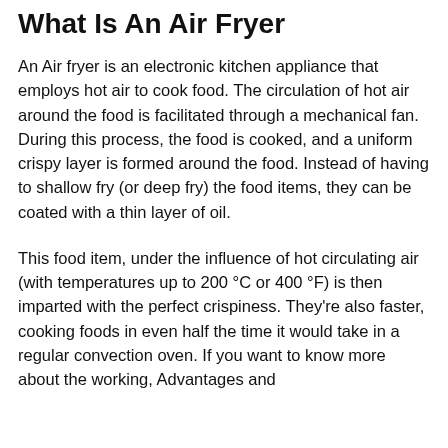What Is An Air Fryer
An Air fryer is an electronic kitchen appliance that employs hot air to cook food. The circulation of hot air around the food is facilitated through a mechanical fan. During this process, the food is cooked, and a uniform crispy layer is formed around the food. Instead of having to shallow fry (or deep fry) the food items, they can be coated with a thin layer of oil.
This food item, under the influence of hot circulating air (with temperatures up to 200 °C or 400 °F) is then imparted with the perfect crispiness. They're also faster, cooking foods in even half the time it would take in a regular convection oven. If you want to know more about the working, Advantages and